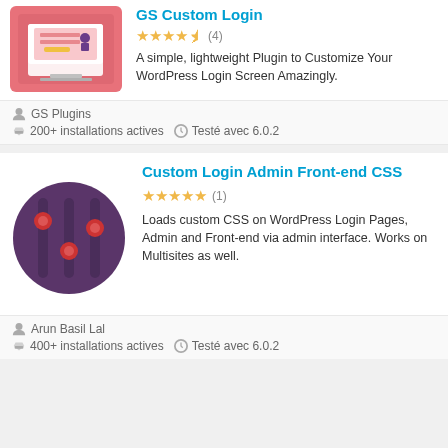[Figure (illustration): Pink background plugin card thumbnail showing a laptop with a login screen illustration]
GS Custom Login
★★★★½ (4)
A simple, lightweight Plugin to Customize Your WordPress Login Screen Amazingly.
GS Plugins
200+ installations actives   Testé avec 6.0.2
[Figure (illustration): Dark purple circle with three vertical sliders/equalizer bars with red knobs]
Custom Login Admin Front-end CSS
★★★★★ (1)
Loads custom CSS on WordPress Login Pages, Admin and Front-end via admin interface. Works on Multisites as well.
Arun Basil Lal
400+ installations actives   Testé avec 6.0.2